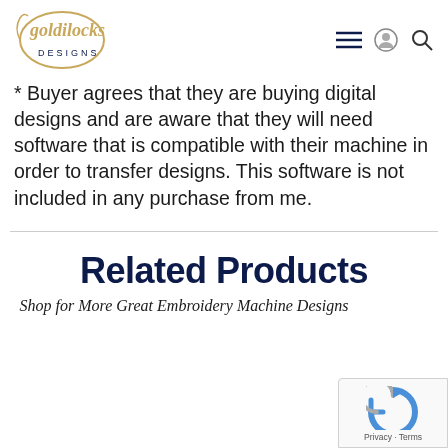goldilocks DESIGNS
* Buyer agrees that they are buying digital designs and are aware that they will need software that is compatible with their machine in order to transfer designs. This software is not included in any purchase from me.
Related Products
Shop for More Great Embroidery Machine Designs